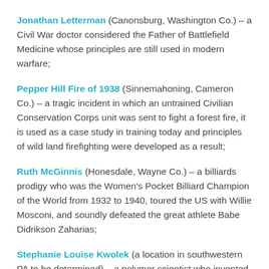Jonathan Letterman (Canonsburg, Washington Co.) – a Civil War doctor considered the Father of Battlefield Medicine whose principles are still used in modern warfare;
Pepper Hill Fire of 1938 (Sinnemahoning, Cameron Co.) – a tragic incident in which an untrained Civilian Conservation Corps unit was sent to fight a forest fire, it is used as a case study in training today and principles of wild land firefighting were developed as a result;
Ruth McGinnis (Honesdale, Wayne Co.) – a billiards prodigy who was the Women's Pocket Billiard Champion of the World from 1932 to 1940, toured the US with Willie Mosconi, and soundly defeated the great athlete Babe Didrikson Zaharias;
Stephanie Louise Kwolek (a location in southwestern PA to be determined) – a polymer scientist who invented Kevlar which is used in bullet proof vests, protective gear...